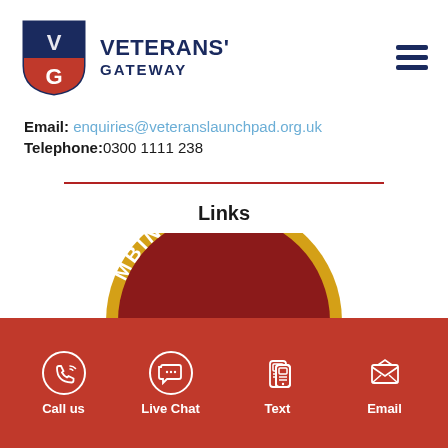[Figure (logo): Veterans' Gateway shield logo with V and G letters in blue and red]
VETERANS' GATEWAY
Email: enquiries@veteranslaunchpad.org.uk
Telephone: 0300 1111 238
Links
[Figure (logo): Partial circular badge with text 'MBINED FORC' visible in red and gold border]
[Figure (infographic): Red footer bar with four contact icons: Call us (phone), Live Chat (speech bubble), Text (mobile), Email (envelope)]